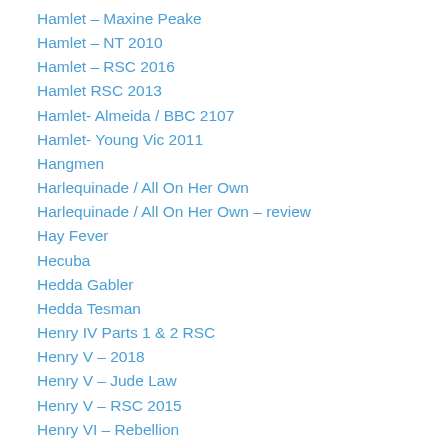Hamlet – Maxine Peake
Hamlet – NT 2010
Hamlet – RSC 2016
Hamlet RSC 2013
Hamlet- Almeida / BBC 2107
Hamlet- Young Vic 2011
Hangmen
Harlequinade / All On Her Own
Harlequinade / All On Her Own – review
Hay Fever
Hecuba
Hedda Gabler
Hedda Tesman
Henry IV Parts 1 & 2 RSC
Henry V – 2018
Henry V – Jude Law
Henry V – RSC 2015
Henry VI – Rebellion
Henry VI – Wars of The Roses
Henry VI: Three plays